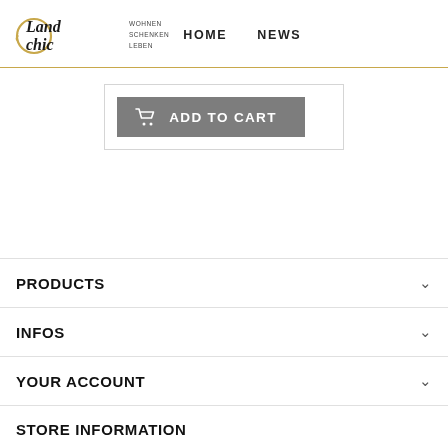Land chic — WOHNEN SCHENKEN LEBEN | HOME | NEWS
[Figure (screenshot): Add to Cart button with shopping cart icon on grey background]
PRODUCTS
INFOS
YOUR ACCOUNT
STORE INFORMATION